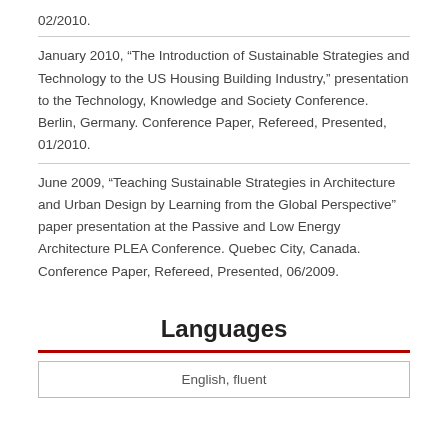02/2010.
January 2010, “The Introduction of Sustainable Strategies and Technology to the US Housing Building Industry,” presentation to the Technology, Knowledge and Society Conference. Berlin, Germany. Conference Paper, Refereed, Presented, 01/2010.
June 2009, “Teaching Sustainable Strategies in Architecture and Urban Design by Learning from the Global Perspective” paper presentation at the Passive and Low Energy Architecture PLEA Conference. Quebec City, Canada. Conference Paper, Refereed, Presented, 06/2009.
Languages
| English, fluent |